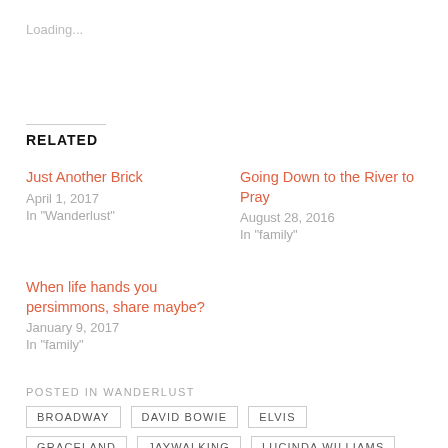Loading...
RELATED
Just Another Brick
April 1, 2017
In "Wanderlust"
Going Down to the River to Pray
August 28, 2016
In "family"
When life hands you persimmons, share maybe?
January 9, 2017
In "family"
POSTED IN WANDERLUST
BROADWAY
DAVID BOWIE
ELVIS
GRACELAND
JAYWALKING
LUCINDA WILLIAMS